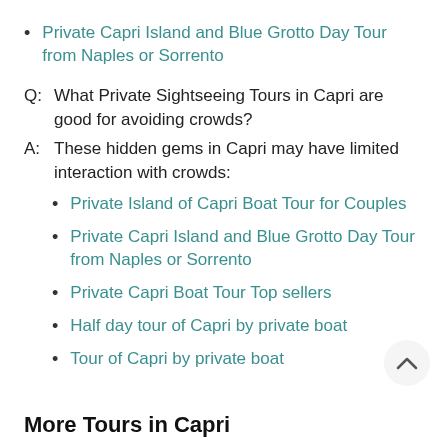Private Capri Island and Blue Grotto Day Tour from Naples or Sorrento
Q: What Private Sightseeing Tours in Capri are good for avoiding crowds?
A: These hidden gems in Capri may have limited interaction with crowds:
Private Island of Capri Boat Tour for Couples
Private Capri Island and Blue Grotto Day Tour from Naples or Sorrento
Private Capri Boat Tour Top sellers
Half day tour of Capri by private boat
Tour of Capri by private boat
More Tours in Capri